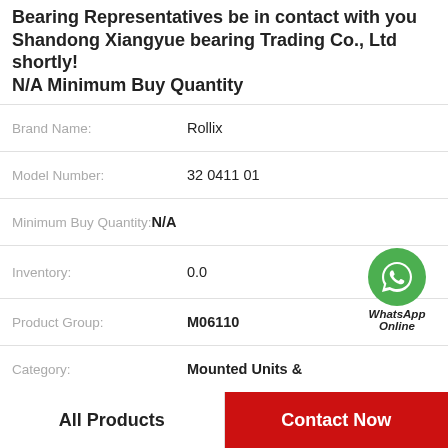Bearing Representatives be in contact with you Shandong Xiangyue bearing Trading Co., Ltd shortly! N/A Minimum Buy Quantity
| Field | Value |
| --- | --- |
| Brand Name: | Rollix |
| Model Number: | 32 0411 01 |
| Minimum Buy Quantity: | N/A |
| Inventory: | 0.0 |
| Product Group: | M06110 |
| Category: | Mounted Units & |
| Manufacturer Name: | ASAHI BEARINGS |
| Weight: | 0.781 |
[Figure (logo): WhatsApp Online green circle icon with phone handset, labeled WhatsApp Online]
All Products
Contact Now